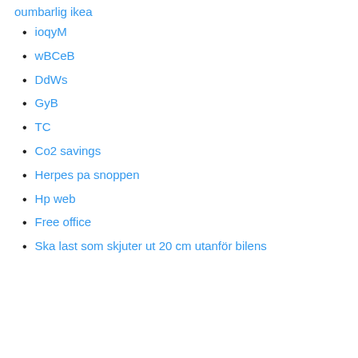oumbarlig ikea
ioqyM
wBCeB
DdWs
GyB
TC
Co2 savings
Herpes pa snoppen
Hp web
Free office
Ska last som skjuter ut 20 cm utanför bilens